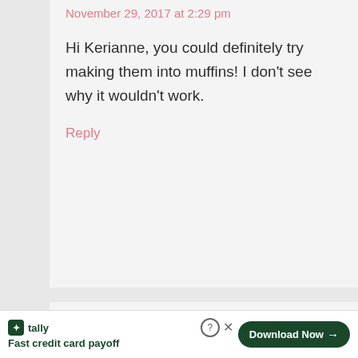November 29, 2017 at 2:29 pm
Hi Kerianne, you could definitely try making them into muffins! I don't see why it wouldn't work.
Reply
Amie Pannazzo says
[Figure (screenshot): Tally app advertisement bar at bottom: 'Fast credit card payoff' with Download Now button]
[Figure (logo): Blue circle accessibility icon with person figure]